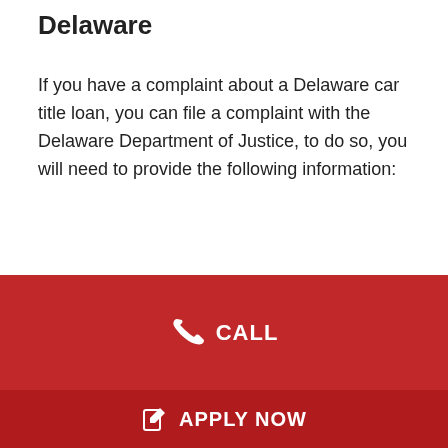Delaware
If you have a complaint about a Delaware car title loan, you can file a complaint with the Delaware Department of Justice, to do so, you will need to provide the following information:
-Your name, address, and phone number -The complete details of the business or government agency -Besides, A description of the problem -The dates of the problem -The names of any witnesses -Also, any other relevant information
[Figure (other): Red bar with CALL button and phone icon]
[Figure (other): Dark red bar with APPLY NOW button and edit icon]